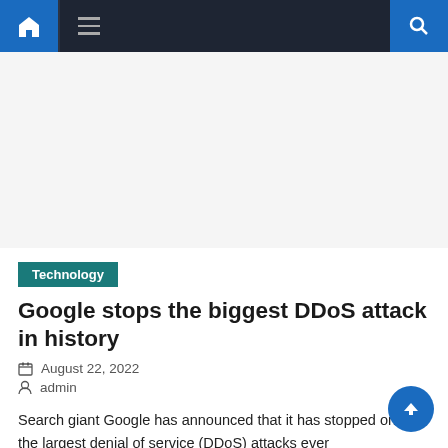Navigation bar with home, menu, and search icons
[Figure (other): Advertisement / blank content area]
Technology
Google stops the biggest DDoS attack in history
August 22, 2022
admin
Search giant Google has announced that it has stopped one of the largest denial of service (DDoS) attacks ever